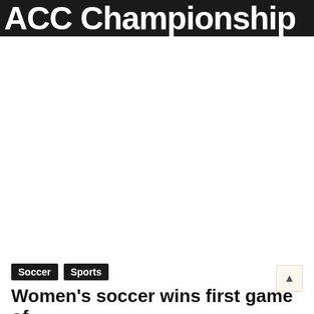ACC Championship
[Figure (photo): Large white/blank area — image placeholder for article photo]
Soccer  Sports
Women's soccer wins first game of